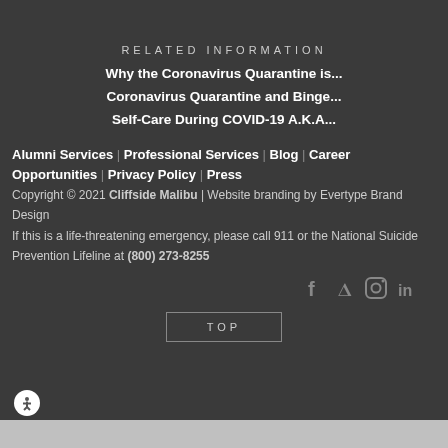RELATED INFORMATION
Why the Coronavirus Quarantine is...
Coronavirus Quarantine and Binge...
Self-Care During COVID-19 A.K.A...
Alumni Services | Professional Services | Blog | Career Opportunities | Privacy Policy | Press
Copyright © 2021 Cliffside Malibu | Website branding by Evertype Brand Design
If this is a life-threatening emergency, please call 911 or the National Suicide Prevention Lifeline at (800) 273-8255
[Figure (other): Social media icons: Facebook, Twitter, Instagram, LinkedIn]
TOP